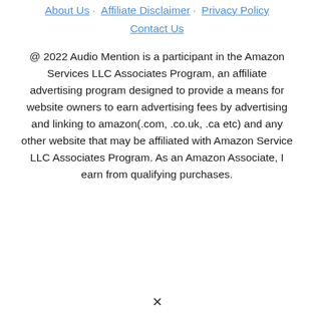About Us | Affiliate Disclaimer | Privacy Policy | Contact Us
@ 2022 Audio Mention is a participant in the Amazon Services LLC Associates Program, an affiliate advertising program designed to provide a means for website owners to earn advertising fees by advertising and linking to amazon(.com, .co.uk, .ca etc) and any other website that may be affiliated with Amazon Service LLC Associates Program. As an Amazon Associate, I earn from qualifying purchases.